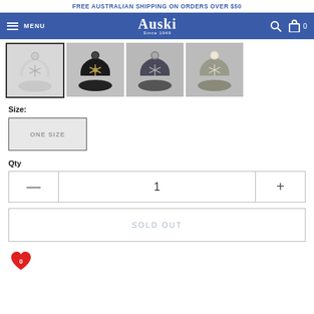FREE AUSTRALIAN SHIPPING ON ORDERS OVER $50
[Figure (screenshot): Auski website navigation bar with hamburger menu, Auski Since 1949 logo, search and cart icons]
[Figure (photo): Four product thumbnail images of winter beanies with snowflake patterns and pom-poms in different colors]
Size:
[Figure (other): ONE SIZE size selector button]
Qty
[Figure (other): Quantity selector with minus, 1, and plus controls]
SOLD OUT
[Figure (other): Wishlist heart icon with count 0]